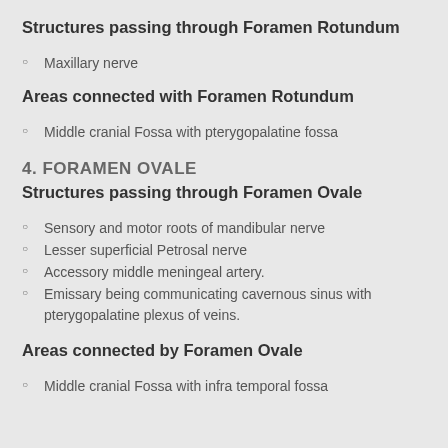Structures passing through Foramen Rotundum
Maxillary nerve
Areas connected with Foramen Rotundum
Middle cranial Fossa with pterygopalatine fossa
4. FORAMEN OVALE
Structures passing through Foramen Ovale
Sensory and motor roots of mandibular nerve
Lesser superficial Petrosal nerve
Accessory middle meningeal artery.
Emissary being communicating cavernous sinus with pterygopalatine plexus of veins.
Areas connected by Foramen Ovale
Middle cranial Fossa with infra temporal fossa